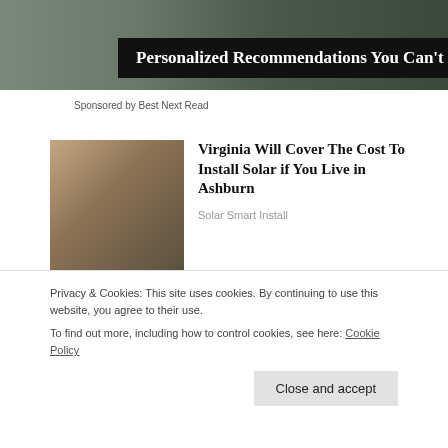[Figure (photo): Dark background banner image with people]
Personalized Recommendations You Can't Miss
Sponsored by Best Next Read
[Figure (photo): Woman with glasses speaking at a podium with microphone]
Virginia Will Cover The Cost To Install Solar if You Live in Ashburn
Solar Smart Install
[Figure (photo): Two men, one kissing the other on the cheek]
[Photos] At 67, John Travolta Is Living In This House With His Partner.
Privacy & Cookies: This site uses cookies. By continuing to use this website, you agree to their use.
To find out more, including how to control cookies, see here: Cookie Policy
Close and accept